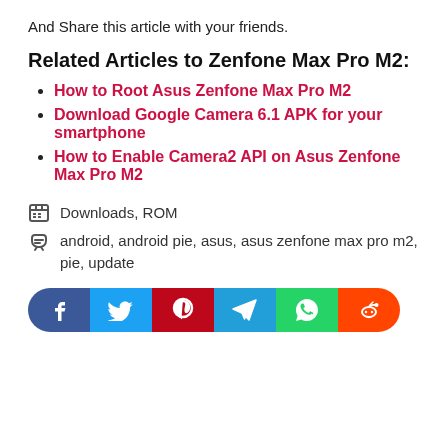And Share this article with your friends.
Related Articles to Zenfone Max Pro M2:
How to Root Asus Zenfone Max Pro M2
Download Google Camera 6.1 APK for your smartphone
How to Enable Camera2 API on Asus Zenfone Max Pro M2
Downloads, ROM
android, android pie, asus, asus zenfone max pro m2, pie, update
[Figure (other): Social share buttons: Facebook, Twitter, Pinterest, Telegram, WhatsApp, Reddit]